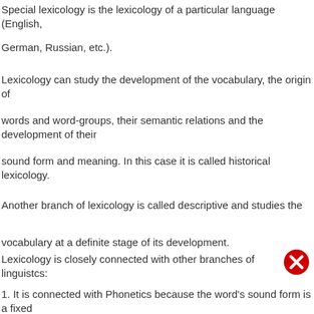Special lexicology is the lexicology of a particular language (English,
German, Russian, etc.).
Lexicology can study the development of the vocabulary, the origin of
words and word-groups, their semantic relations and the development of their
sound form and meaning. In this case it is called historical lexicology.
Another branch of lexicology is called descriptive and studies the
vocabulary at a definite stage of its development.
Lexicology is closely connected with other branches of linguistcs:
1. It is connected with Phonetics because the word's sound form is a fixed